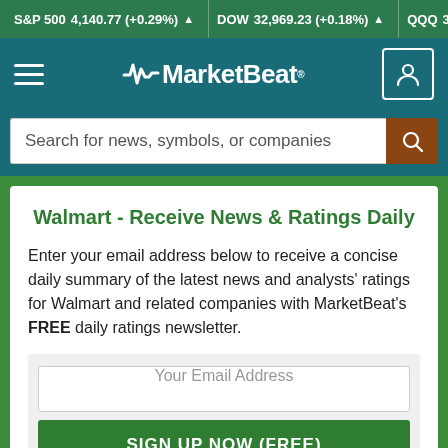S&P 500 4,140.77 (+0.29%) ▲  DOW 32,969.23 (+0.18%) ▲  QQQ 315.43
[Figure (logo): MarketBeat logo with heartbeat waveform icon in white on teal navigation bar]
Search for news, symbols, or companies
Walmart - Receive News & Ratings Daily
Enter your email address below to receive a concise daily summary of the latest news and analysts' ratings for Walmart and related companies with MarketBeat's FREE daily ratings newsletter.
Your Email Address
SIGN UP NOW (FREE)
or
Sign up with Google